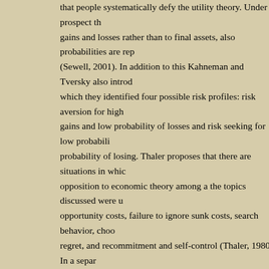that people systematically defy the utility theory. Under prospect theory gains and losses rather than to final assets, also probabilities are rep (Sewell, 2001). In addition to this Kahneman and Tversky also introd which they identified four possible risk profiles: risk aversion for high gains and low probability of losses and risk seeking for low probabili probability of losing. Thaler proposes that there are situations in whi opposition to economic theory among a the topics discussed were u opportunity costs, failure to ignore sunk costs, search behavior, cho regret, and recommitment and self-control (Thaler, 1980). In a separ and Tversky further explored the concept of framing and prospect th rational theory of choice. Another important contribution was Shillers prices volatility could not be explained merely by information about f suggested there were elements that influenced volatility of stock pric publish an article titled Does the Stock Market Overreact? They con to overreact to unexpected and dramatic news three years year afte work, Thaler and De Bondt produced more evidenced that provided overreaction hypothesis. Other authors such as Rabin propose that does not explain risk aversion over modest stakes (Sewell, 2001). T conclude that expected utility hypothesis is dead. Shiller presents ev the US markets are for the most part overvalued and points to vario psychological-that may explain the phenomena. Thaler publishes Th he discusses the tendency of individuals to overestimate/underestim competitive bidding when information is limited. Thaler and Bondt